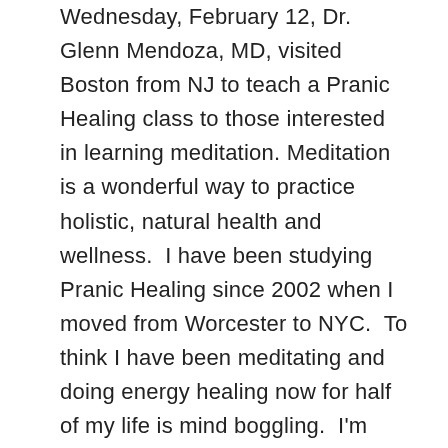Wednesday, February 12, Dr. Glenn Mendoza, MD, visited Boston from NJ to teach a Pranic Healing class to those interested in learning meditation. Meditation is a wonderful way to practice holistic, natural health and wellness.  I have been studying Pranic Healing since 2002 when I moved from Worcester to NYC.  To think I have been meditating and doing energy healing now for half of my life is mind boggling.  I'm incredibly blessed. I strive constantly to be a better student, and to practice values of constancy of aim and effort, loving kindness, and correct expression and accurate perception among others.  In the past few years, Inspirational Speaker, Tony Robbins has caught on to Pranic Healing and has done...